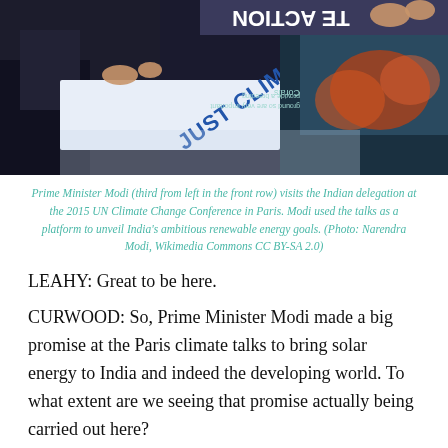[Figure (photo): People at the 2015 UN Climate Change Conference in Paris. Signs visible include 'JUST CLIMATE ACTION' and coral reef information display. Hands visible signing or pointing at materials on table.]
Prime Minister Modi (third from left in the front row) visits the Indian delegation at the 2015 UN Climate Change Conference in Paris. Modi used the talks as a platform to unveil India's ambitious renewable energy goals. (Photo: Narendra Modi, Wikimedia Commons CC BY-SA 2.0)
LEAHY: Great to be here.
CURWOOD: So, Prime Minister Modi made a big promise at the Paris climate talks to bring solar energy to India and indeed the developing world. To what extent are we seeing that promise actually being carried out here?